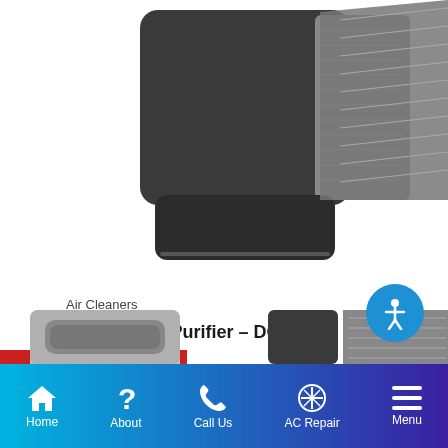[Figure (photo): Close-up of a dark gray Infinity Air Purifier unit (DGAPA) showing filter and lower housing section]
Air Cleaners
Infinity® Air Purifier – DGAPA
GET A FREE QUOTE
Carrier Products
[Figure (photo): Two Carrier product thumbnail images partially visible at bottom of page — a flat rectangular unit on left and an air purifier unit on right]
Home | About | Call Us | AC Repair | Menu